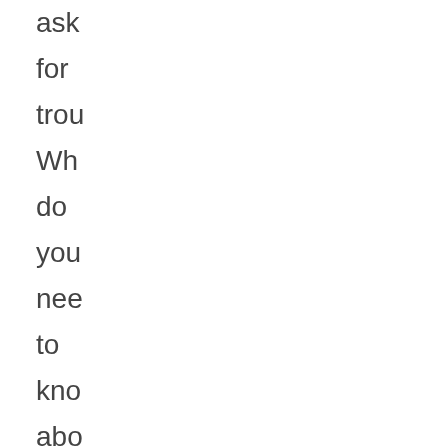ask for trou Wh do you nee to kno abo eth oct and unl fue Find out in my sto at the Na